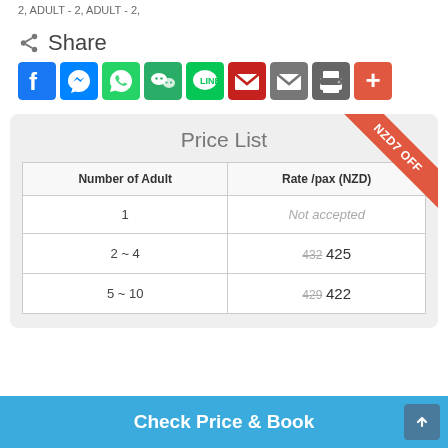2 ADULT - 2 ADULT - 2
Share
[Figure (infographic): Social share buttons: Facebook, Messenger, WhatsApp, WeChat, LINE, Gmail, Email, Print, More]
| Number of Adult | Rate /pax (NZD) |
| --- | --- |
| 1 | Not accepted |
| 2 ~ 4 | 432 425 |
| 5 ~ 10 | 429 422 |
Check Price & Book